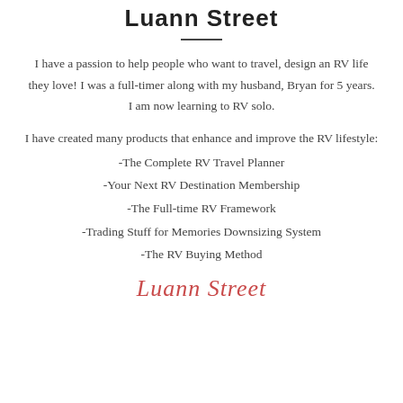Luann Street
I have a passion to help people who want to travel, design an RV life they love! I was a full-timer along with my husband, Bryan for 5 years. I am now learning to RV solo.
I have created many products that enhance and improve the RV lifestyle:
-The Complete RV Travel Planner
-Your Next RV Destination Membership
-The Full-time RV Framework
-Trading Stuff for Memories Downsizing System
-The RV Buying Method
[Figure (illustration): Cursive signature reading 'Luann Street' in red/pink color]